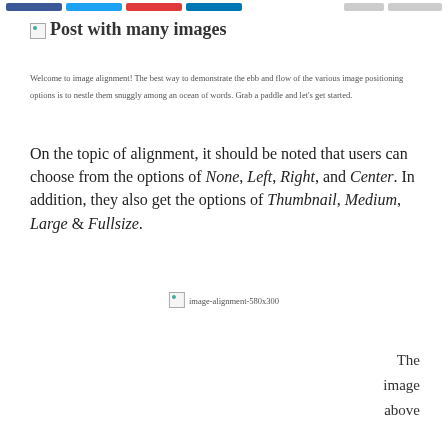[navigation buttons: Facebook, Twitter, Pinterest, LinkedIn, and two gray buttons]
Post with many images
Welcome to image alignment! The best way to demonstrate the ebb and flow of the various image positioning options is to nestle them snuggly among an ocean of words. Grab a paddle and let’s get started.
On the topic of alignment, it should be noted that users can choose from the options of None, Left, Right, and Center. In addition, they also get the options of Thumbnail, Medium, Large & Fullsize.
[Figure (photo): Broken image placeholder labeled 'image-alignment-580x300']
The image above